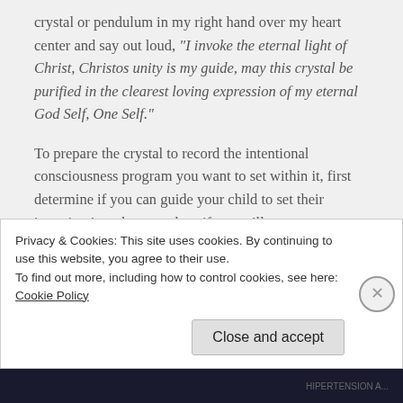crystal or pendulum in my right hand over my heart center and say out loud, "I invoke the eternal light of Christ, Christos unity is my guide, may this crystal be purified in the clearest loving expression of my eternal God Self, One Self."
To prepare the crystal to record the intentional consciousness program you want to set within it, first determine if you can guide your child to set their intention into the crystal, or if you will act on
Privacy & Cookies: This site uses cookies. By continuing to use this website, you agree to their use.
To find out more, including how to control cookies, see here: Cookie Policy
Close and accept